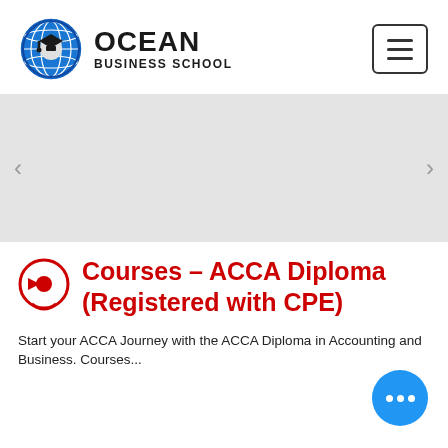[Figure (logo): Ocean Business School logo with globe and graduation cap icon, text OCEAN BUSINESS SCHOOL]
[Figure (other): Image slider / carousel area with grey background and left/right navigation arrows]
Courses - ACCA Diploma (Registered with CPE)
Start your ACCA Journey with the ACCA Diploma in Accounting and Business. Courses...